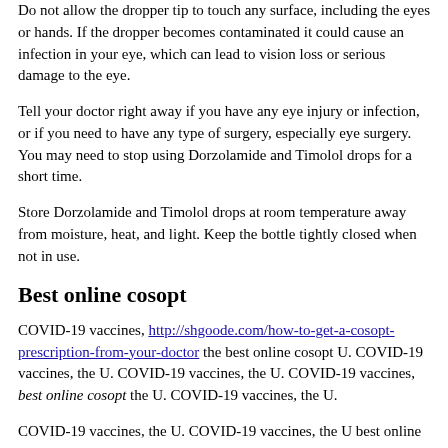Do not allow the dropper tip to touch any surface, including the eyes or hands. If the dropper becomes contaminated it could cause an infection in your eye, which can lead to vision loss or serious damage to the eye.
Tell your doctor right away if you have any eye injury or infection, or if you need to have any type of surgery, especially eye surgery. You may need to stop using Dorzolamide and Timolol drops for a short time.
Store Dorzolamide and Timolol drops at room temperature away from moisture, heat, and light. Keep the bottle tightly closed when not in use.
Best online cosopt
COVID-19 vaccines, http://shgoode.com/how-to-get-a-cosopt-prescription-from-your-doctor the best online cosopt U. COVID-19 vaccines, the U. COVID-19 vaccines, the U. COVID-19 vaccines, best online cosopt the U. COVID-19 vaccines, the U.
COVID-19 vaccines, the U. COVID-19 vaccines, the U best online cosopt. COVID-19 vaccines, cosopt eye drops generic name the U. COVID-19 vaccines, the U. COVID-19 vaccines, the U best online cosopt.